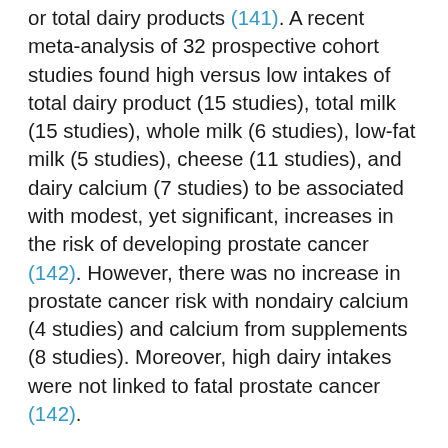or total dairy products (141). A recent meta-analysis of 32 prospective cohort studies found high versus low intakes of total dairy product (15 studies), total milk (15 studies), whole milk (6 studies), low-fat milk (5 studies), cheese (11 studies), and dairy calcium (7 studies) to be associated with modest, yet significant, increases in the risk of developing prostate cancer (142). However, there was no increase in prostate cancer risk with nondairy calcium (4 studies) and calcium from supplements (8 studies). Moreover, high dairy intakes were not linked to fatal prostate cancer (142).
There is some evidence to suggest that milk consumption may result in higher circulating concentrations of insulin-like growth factor-I (IGF-I), a protein known to regulate cell proliferation (143). Circulating IGF-I concentrations have been positively correlated to the risk of developing prostate cancer in a